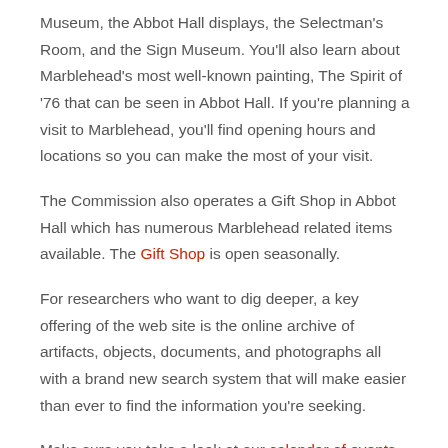Museum, the Abbot Hall displays, the Selectman's Room, and the Sign Museum. You'll also learn about Marblehead's most well-known painting, The Spirit of '76 that can be seen in Abbot Hall. If you're planning a visit to Marblehead, you'll find opening hours and locations so you can make the most of your visit.
The Commission also operates a Gift Shop in Abbot Hall which has numerous Marblehead related items available. The Gift Shop is open seasonally.
For researchers who want to dig deeper, a key offering of the web site is the online archive of artifacts, objects, documents, and photographs all with a brand new search system that will make easier than ever to find the information you're seeking.
Make sure you take a look at our calendar of events. It will keep you up to date on current happenings while opening a window into important events in Marblehead's past.